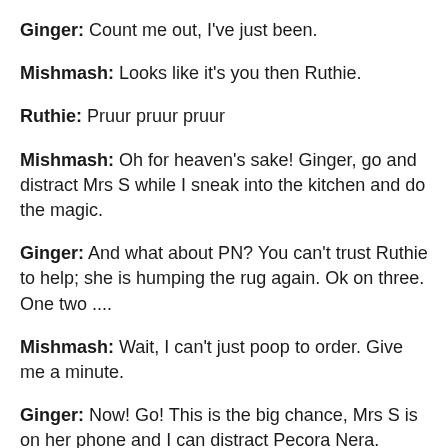Ginger: Count me out, I've just been.
Mishmash: Looks like it's you then Ruthie.
Ruthie: Pruur pruur pruur
Mishmash: Oh for heaven's sake! Ginger, go and distract Mrs S while I sneak into the kitchen and do the magic.
Ginger: And what about PN? You can't trust Ruthie to help; she is humping the rug again. Ok on three. One two ....
Mishmash: Wait, I can't just poop to order. Give me a minute.
Ginger: Now! Go! This is the big chance, Mrs S is on her phone and I can distract Pecora Nera.